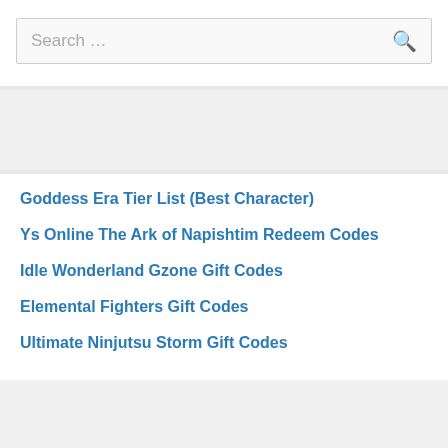Search …
Goddess Era Tier List (Best Character)
Ys Online The Ark of Napishtim Redeem Codes
Idle Wonderland Gzone Gift Codes
Elemental Fighters Gift Codes
Ultimate Ninjutsu Storm Gift Codes